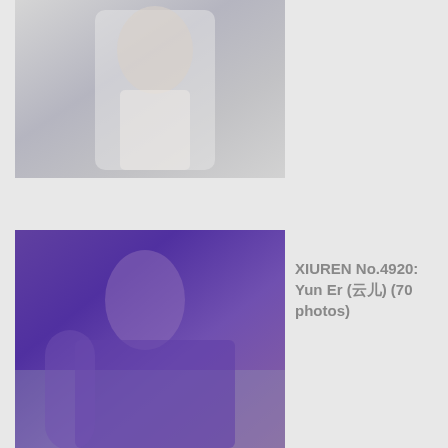[Figure (photo): A woman in white lace lingerie posing near a window, viewed from the side, with light background]
[Figure (photo): A woman wearing a purple dress with long mesh sleeves and a choker, sitting on a couch]
XIUREN No.4920: Yun Er (云尔) (70 photos)